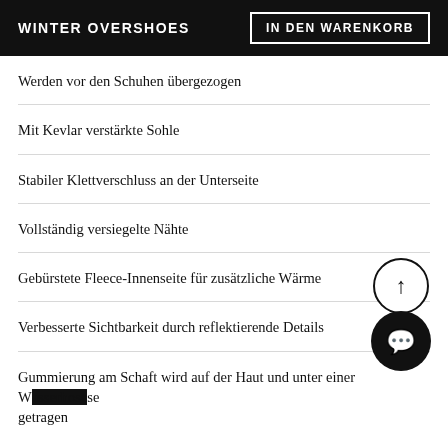WINTER OVERSHOES | IN DEN WARENKORB
Werden vor den Schuhen übergezogen
Mit Kevlar verstärkte Sohle
Stabiler Klettverschluss an der Unterseite
Vollständig versiegelte Nähte
Gebürstete Fleece-Innenseite für zusätzliche Wärme
Verbesserte Sichtbarkeit durch reflektierende Details
Gummierung am Schaft wird auf der Haut und unter einer Wasserhose getragen